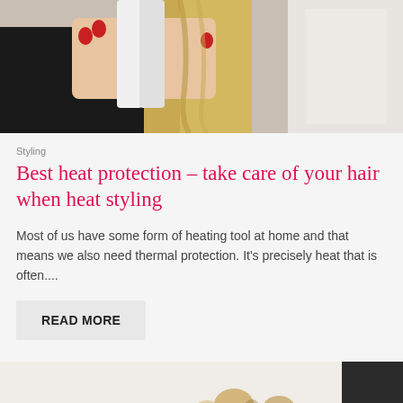[Figure (photo): A hairstylist using a flat iron/straightener on a blonde woman's hair. The stylist has red nail polish. The woman is wearing a black salon cape.]
Styling
Best heat protection – take care of your hair when heat styling
Most of us have some form of heating tool at home and that means we also need thermal protection. It's precisely heat that is often....
READ MORE
[Figure (photo): Bottom portion of another article image showing jewelry or accessories on a light background.]